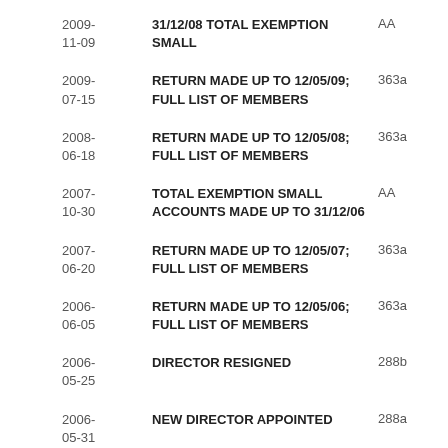2009-11-09 | 31/12/08 TOTAL EXEMPTION SMALL | AA
2009-07-15 | RETURN MADE UP TO 12/05/09; FULL LIST OF MEMBERS | 363a
2008-06-18 | RETURN MADE UP TO 12/05/08; FULL LIST OF MEMBERS | 363a
2007-10-30 | TOTAL EXEMPTION SMALL ACCOUNTS MADE UP TO 31/12/06 | AA
2007-06-20 | RETURN MADE UP TO 12/05/07; FULL LIST OF MEMBERS | 363a
2006-06-05 | RETURN MADE UP TO 12/05/06; FULL LIST OF MEMBERS | 363a
2006-05-25 | DIRECTOR RESIGNED | 288b
2006-05-31 | NEW DIRECTOR APPOINTED | 288a
2006- | SECRETARY'S PARTICULARS | 288a